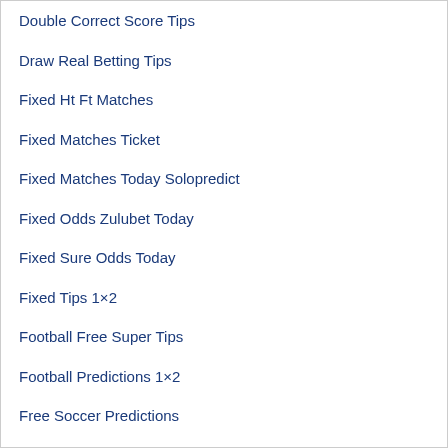Double Correct Score Tips
Draw Real Betting Tips
Fixed Ht Ft Matches
Fixed Matches Ticket
Fixed Matches Today Solopredict
Fixed Odds Zulubet Today
Fixed Sure Odds Today
Fixed Tips 1×2
Football Free Super Tips
Football Predictions 1×2
Free Soccer Predictions
Genuine Fixed Matches
Get Fixed Matches
Get Sure Fixed Picks
Manipulated Matches